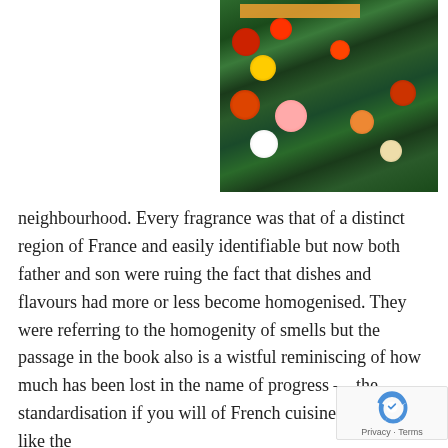[Figure (photo): Painting or photo of a garden with colorful flowers (red, yellow, pink, white, orange) against dense green foliage, with an orange banner/text strip at the top of the image]
neighbourhood. Every fragrance was that of a distinct region of France and easily identifiable but now both father and son were ruing the fact that dishes and flavours had more or less become homogenised. They were referring to the homogenity of smells but the passage in the book also is a wistful reminiscing of how much has been lost in the name of progress — the standardisation if you will of French cuisine. It is much like the